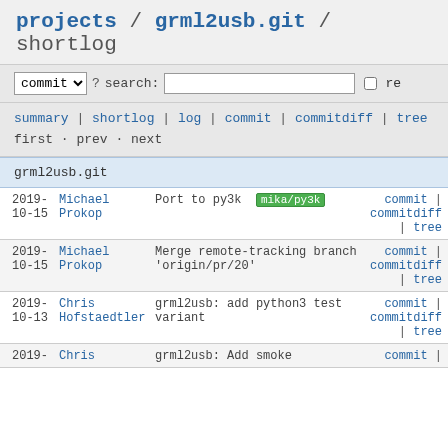projects / grml2usb.git / shortlog
commit  ? search:   re
summary | shortlog | log | commit | commitdiff | tree
first · prev · next
grml2usb.git
| date | author | message | links |
| --- | --- | --- | --- |
| 2019-
10-15 | Michael
Prokop | Port to py3k  mika/py3k | commit |
commitdiff
| tree |
| 2019-
10-15 | Michael
Prokop | Merge remote-tracking branch
'origin/pr/20' | commit |
commitdiff
| tree |
| 2019-
10-13 | Chris
Hofstaedtler | grml2usb: add python3 test
variant | commit |
commitdiff
| tree |
| 2019- | Chris | grml2usb: Add smoke | commit | |